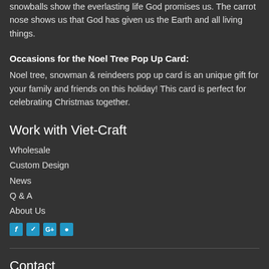The white snow represents God's forgiveness of our sins. The eternal snowballs show the everlasting life God promises us. The carrot nose shows us that God has given us the Earth and all living things.
Occasions for the Noel Tree Pop Up Card:
Noel tree, snowman & reindeers pop up card is an unique gift for your family and friends on this holiday! This card is perfect for celebrating Christmas together.
Work with Viet-Craft
Wholesale
Custom Design
News
Q & A
About Us
[Figure (infographic): Social media icons: Facebook, Twitter, Google+, Instagram in blue color]
Contact
VIETNAM TRADING AND FINE ARTS HANDICRAFT JOINT